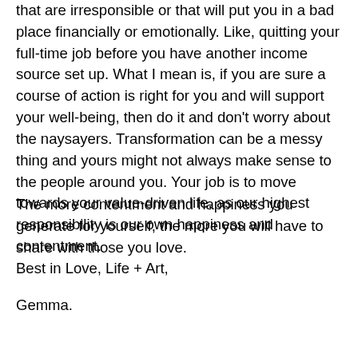that are irresponsible or that will put you in a bad place financially or emotionally. Like, quitting your full-time job before you have another income source set up. What I mean is, if you are sure a course of action is right for you and will support your well-being, then do it and don't worry about the naysayers. Transformation can be a messy thing and yours might not always make sense to the people around you. Your job is to move towards your value-driven life, as our highest responsibility is our own happiness and contentment.
The more contentment and happiness you generate for yourself, the more you will have to share with those you love.
Best in Love, Life + Art,
Gemma.